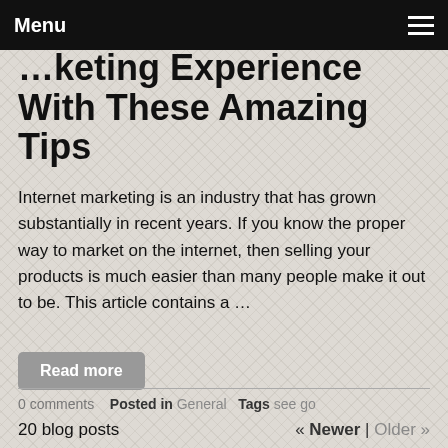Menu
… Marketing Experience With These Amazing Tips
Internet marketing is an industry that has grown substantially in recent years. If you know the proper way to market on the internet, then selling your products is much easier than many people make it out to be. This article contains a …
Read more
0 comments   Posted in General   Tags see go
20 blog posts   « Newer | Older »